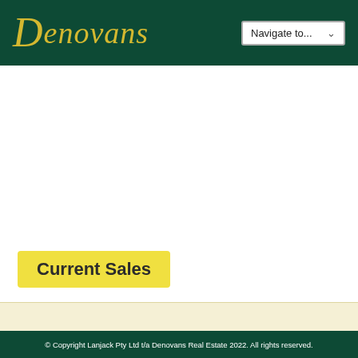Denovans
Current Sales
© Copyright Lanjack Pty Ltd t/a Denovans Real Estate 2022. All rights reserved.